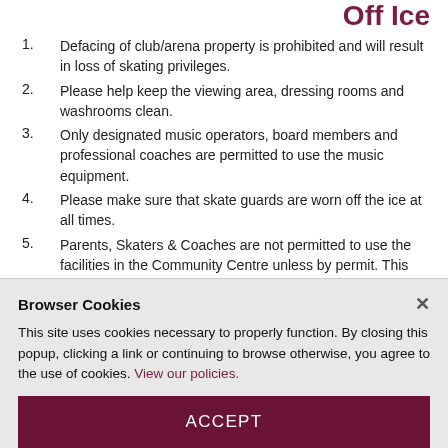Off Ice
Defacing of club/arena property is prohibited and will result in loss of skating privileges.
Please help keep the viewing area, dressing rooms and washrooms clean.
Only designated music operators, board members and professional coaches are permitted to use the music equipment.
Please make sure that skate guards are worn off the ice at all times.
Parents, Skaters & Coaches are not permitted to use the facilities in the Community Centre unless by permit. This includes change rooms & washrooms. Management and
Browser Cookies
This site uses cookies necessary to properly function. By closing this popup, clicking a link or continuing to browse otherwise, you agree to the use of cookies. View our policies.
ACCEPT